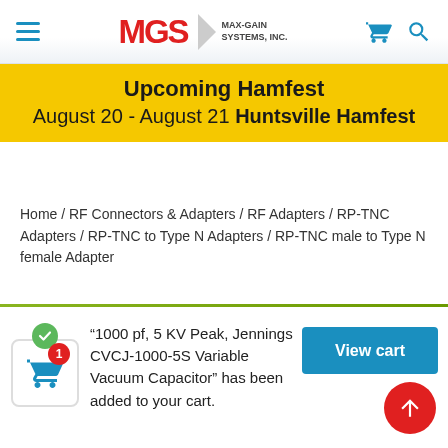MGS MAX-GAIN SYSTEMS, INC.
Upcoming Hamfest
August 20 - August 21 Huntsville Hamfest
Home / RF Connectors & Adapters / RF Adapters / RP-TNC Adapters / RP-TNC to Type N Adapters / RP-TNC male to Type N female Adapter
“1000 pf, 5 KV Peak, Jennings CVCJ-1000-5S Variable Vacuum Capacitor” has been added to your cart.